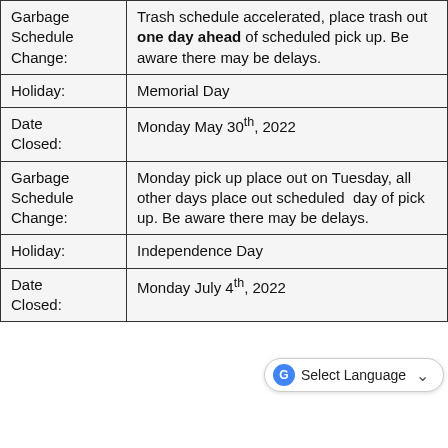| Garbage
Schedule
Change: | Trash schedule accelerated, place trash out one day ahead of scheduled pick up. Be aware there may be delays. |
| Holiday: | Memorial Day |
| Date
Closed: | Monday May 30th, 2022 |
| Garbage
Schedule
Change: | Monday pick up place out on Tuesday, all other days place out scheduled day of pick up. Be aware there may be delays. |
| Holiday: | Independence Day |
| Date
Closed: | Monday July 4th, 2022 |